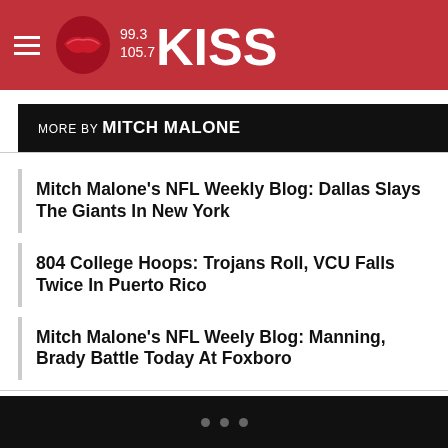[Figure (logo): 99.3 105.7 KISS radio station logo on red background with hamburger menu icon]
MORE BY MITCH MALONE
Mitch Malone's NFL Weekly Blog: Dallas Slays The Giants In New York
804 College Hoops: Trojans Roll, VCU Falls Twice In Puerto Rico
Mitch Malone's NFL Weely Blog: Manning, Brady Battle Today At Foxboro